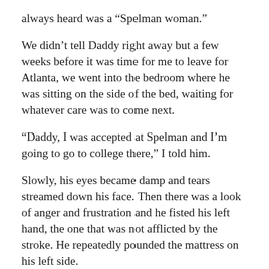always heard was a “Spelman woman.”
We didn’t tell Daddy right away but a few weeks before it was time for me to leave for Atlanta, we went into the bedroom where he was sitting on the side of the bed, waiting for whatever care was to come next.
“Daddy, I was accepted at Spelman and I’m going to go to college there,” I told him.
Slowly, his eyes became damp and tears streamed down his face. Then there was a look of anger and frustration and he fisted his left hand, the one that was not afflicted by the stroke. He repeatedly pounded the mattress on his left side.
“No. No. No. No. No,” he slurred out of one side of his mouth. He clearly remembered the conversations about him wanting me to stay home and go to college in Sacramento. It was clear that his stroke robbed him of so much